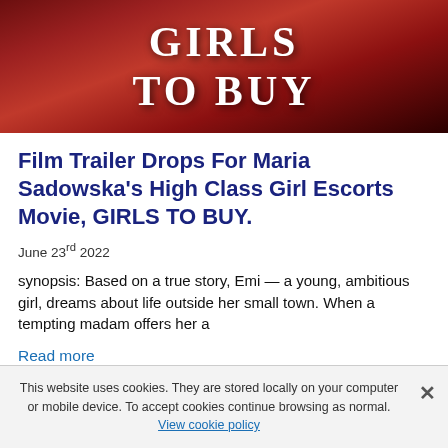[Figure (photo): Movie banner image for 'Girls To Buy' showing women in red with large white text reading 'GIRLS TO BUY']
Film Trailer Drops For Maria Sadowska's High Class Girl Escorts Movie, GIRLS TO BUY.
June 23rd 2022
synopsis: Based on a true story, Emi — a young, ambitious girl, dreams about life outside her small town. When a tempting madam offers her a
Read more
This website uses cookies. They are stored locally on your computer or mobile device. To accept cookies continue browsing as normal. View cookie policy